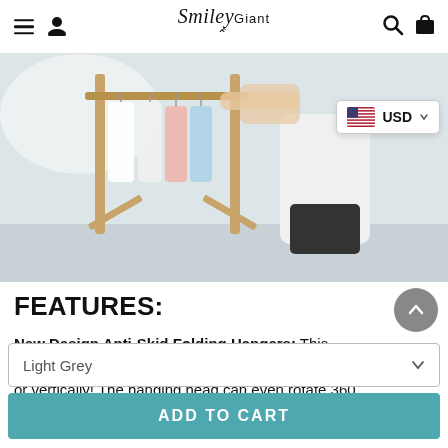SmileyGiant — navigation header with menu, user, search, and cart icons
[Figure (photo): Person arranging clothes on a wooden garment rack with white and pastel-colored clothing; USD currency selector badge visible in upper right corner of image]
FEATURES:
New Design Anti-Skid Folding Hangers: This hanger's 9 hole design allows it to be hung horizontally or vertically! The hanging head can even rotate 360
Light Grey
ADD TO CART